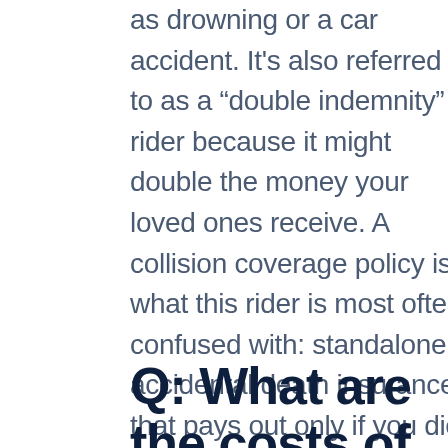as drowning or a car accident. It's also referred to as a “double indemnity” rider because it might double the money your loved ones receive. A collision coverage policy is what this rider is most often confused with: standalone accidental death insurance that pays out only if you die in an accident. Terms and definitions are frequently conflated.
Q: What are the costs of